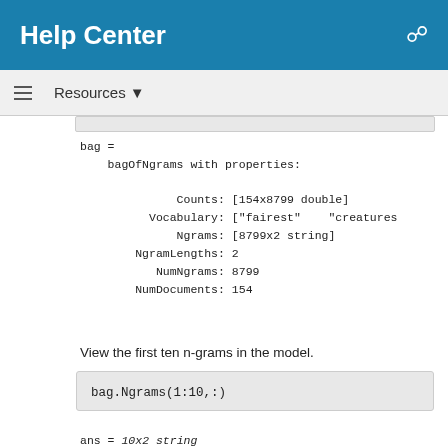Help Center
Resources ▼
bag =
    bagOfNgrams with properties:

              Counts: [154x8799 double]
          Vocabulary: ["fairest"    "creatures
              Ngrams: [8799x2 string]
        NgramLengths: 2
          NumNgrams: 8799
        NumDocuments: 154
View the first ten n-grams in the model.
bag.Ngrams(1:10,:)
ans = 10x2 string
    "fairest"      "creatures"
    "creatures"    "desire"